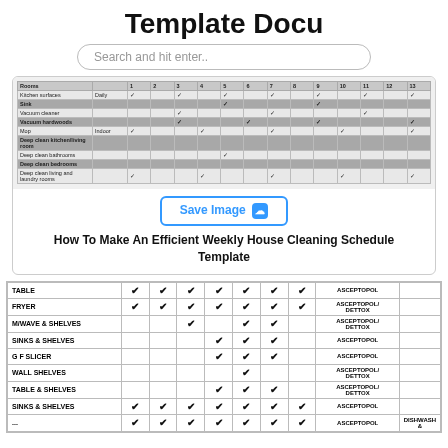Template Docu
Search and hit enter..
[Figure (table-as-image): Weekly house cleaning schedule template thumbnail showing a grid with cleaning tasks and checkboxes]
Save Image
How To Make An Efficient Weekly House Cleaning Schedule Template
|  |  |  |  |  |  |  |  | Product |  |
| --- | --- | --- | --- | --- | --- | --- | --- | --- | --- |
| TABLE | ✔ | ✔ | ✔ | ✔ | ✔ | ✔ | ✔ | ASCEPTOPOL |  |
| FRYER | ✔ | ✔ | ✔ | ✔ | ✔ | ✔ | ✔ | ASCEPTOPOL/ DETTOX |  |
| M/WAVE & SHELVES |  |  | ✔ |  | ✔ | ✔ |  | ASCEPTOPOL/ DETTOX |  |
| SINKS & SHELVES |  |  |  | ✔ | ✔ | ✔ |  | ASCEPTOPOL |  |
| G F SLICER |  |  |  | ✔ | ✔ | ✔ |  | ASCEPTOPOL |  |
| WALL SHELVES |  |  |  |  | ✔ |  |  | ASCEPTOPOL/ DETTOX |  |
| TABLE & SHELVES |  |  |  | ✔ | ✔ | ✔ |  | ASCEPTOPOL/ DETTOX |  |
| SINKS & SHELVES | ✔ | ✔ | ✔ | ✔ | ✔ | ✔ | ✔ | ASCEPTOPOL |  |
| ... | ✔ | ✔ | ✔ | ✔ | ✔ | ✔ | ✔ | ASCEPTOPOL | DISHWASH & |